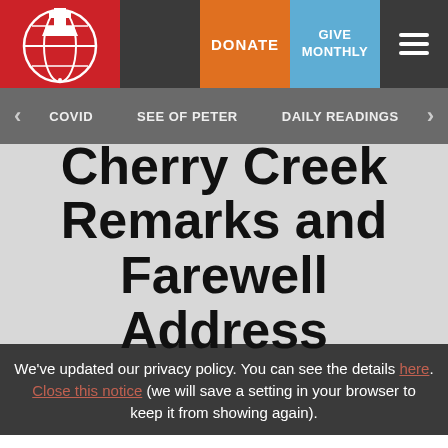[Figure (logo): Globe with church/cross logo on red background]
DONATE  GIVE MONTHLY  ☰
< COVID  SEE OF PETER  DAILY READINGS >
Cherry Creek Remarks and Farewell Address
We've updated our privacy policy. You can see the details here. Close this notice (we will save a setting in your browser to keep it from showing again).